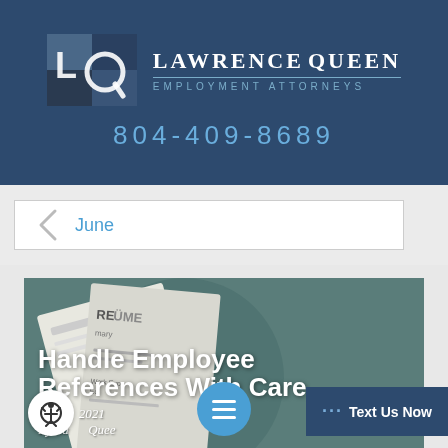[Figure (logo): Lawrence Queen Employment Attorneys logo with LQ icon on dark blue background and phone number 804-409-8689]
LAWRENCE QUEEN
EMPLOYMENT ATTORNEYS
804-409-8689
June
[Figure (photo): Article thumbnail showing a resume document on a teal background with overlay text]
Handle Employee References With Care
June 2021
By Lawrence Queen